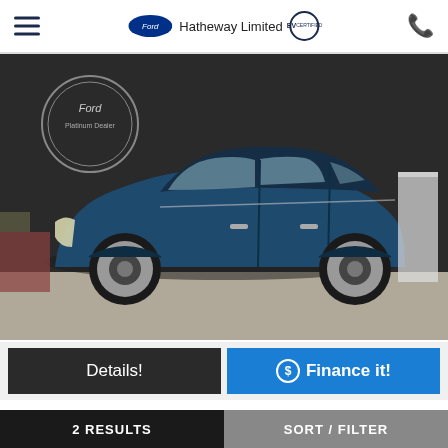Hatheway Limited EV — Ford dealership header
[Figure (photo): Side profile photo of a dark blue Ford Escape SUV parked inside a dealership showroom with dark brick wall background and Ford Platinum dealer signage]
Details!
$ Finance it!
FORD
$34,400
2 RESULTS    SORT / FILTER